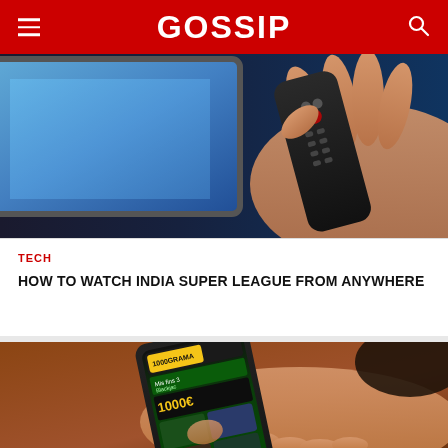GOSSIP
[Figure (photo): Hand holding a TV remote control with a blurred television screen in the background]
TECH
HOW TO WATCH INDIA SUPER LEAGUE FROM ANYWHERE
[Figure (photo): Person holding a smartphone displaying a casino/gaming app with offers including 1000€ bonus]